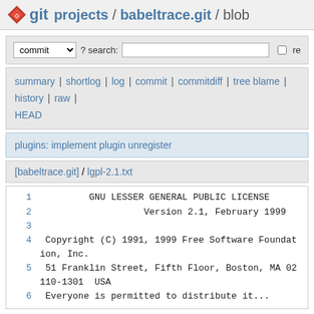git  projects / babeltrace.git / blob
commit  ? search:  re
summary | shortlog | log | commit | commitdiff | tree blame | history | raw | HEAD
plugins: implement plugin unregister
[babeltrace.git] / lgpl-2.1.txt
1	GNU LESSER GENERAL PUBLIC LICENSE
2	Version 2.1, February 1999
3
4	Copyright (C) 1991, 1999 Free Software Foundation, Inc.
5	51 Franklin Street, Fifth Floor, Boston, MA 02110-1301  USA
6	Everyone is permitted to distribute it...